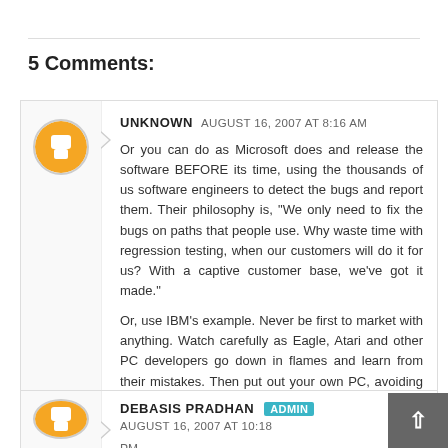5 Comments:
UNKNOWN  AUGUST 16, 2007 AT 8:16 AM

Or you can do as Microsoft does and release the software BEFORE its time, using the thousands of us software engineers to detect the bugs and report them. Their philosophy is, "We only need to fix the bugs on paths that people use. Why waste time with regression testing, when our customers will do it for us? With a captive customer base, we've got it made."

Or, use IBM's example. Never be first to market with anything. Watch carefully as Eagle, Atari and other PC developers go down in flames and learn from their mistakes. Then put out your own PC, avoiding those mistakes and claim the world for your oyster.

Reply
DEBASIS PRADHAN  ADMIN  AUGUST 16, 2007 AT 10:18 PM